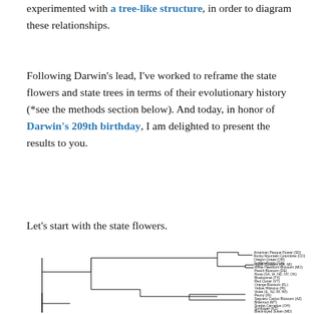experimented with a tree-like structure, in order to diagram these relationships.
Following Darwin's lead, I've worked to reframe the state flowers and state trees in terms of their evolutionary history (*see the methods section below). And today, in honor of Darwin's 209th birthday, I am delighted to present the results to you.
Let's start with the state flowers.
[Figure (other): A phylogenetic tree (cladogram) of state flowers. The tree branches from the left to labeled tips on the right. Visible tip labels include: American Pasque Flower (SD), Rocky Mountain Columbine (CO), Oregon Grape (OR), Golden Poppy (CA), Apple Blossom (AR, MI), White Hawthorn Blossom (MO), Peach Blossom (DE), Rose (GA, IA, ND, NY, OK), Bluebonnet (TX), Red Clover (VT), Orange Blossom (FL), Yellow Hibiscus (HI), Violet (IL, NJ, RI, WI), Peony (IN), Saguaro Cactus Blossom (AZ), Bitterroot (MT), Scarlet Carnation (OH), Sunflower (KS), Black-Eyed Susan (MD), Goldenrod (KY, NE), Sagebrush (NV), Purple Lilac (NH), Indian Paintbrush (WY), Alpine Forget-Me-Not (AK), Yellow Jessamine (SC).]